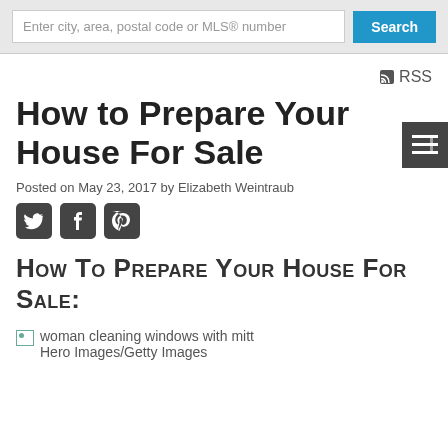Enter city, area, postal code or MLS® number | Search
RSS
How to Prepare Your House For Sale
Posted on May 23, 2017 by Elizabeth Weintraub
[Figure (other): Social media icons: Twitter, Facebook, Pinterest]
How To Prepare Your House For Sale:
[Figure (photo): woman cleaning windows with mitt - Hero Images/Getty Images]